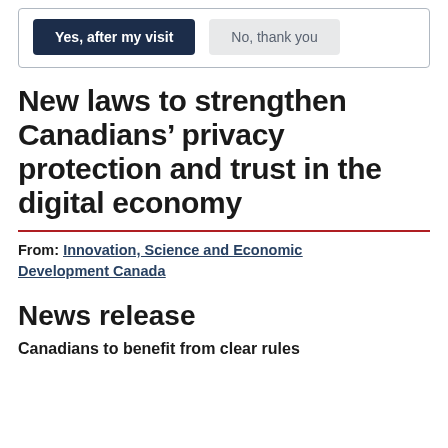[Figure (screenshot): Survey prompt with two buttons: 'Yes, after my visit' (dark navy) and 'No, thank you' (light grey), inside a bordered box.]
New laws to strengthen Canadians’ privacy protection and trust in the digital economy
From: Innovation, Science and Economic Development Canada
News release
Canadians to benefit from clear rules